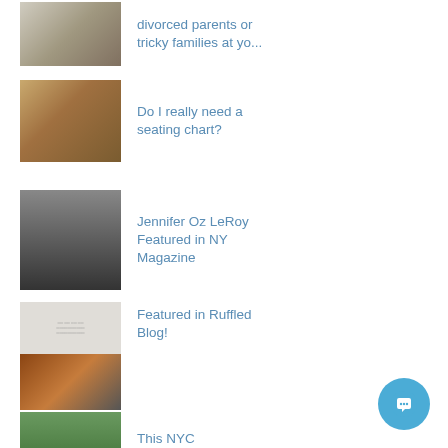[Figure (photo): Thumbnail of a book with floral decoration - partially cut off at top]
divorced parents or tricky families at yo...
[Figure (photo): Rustic barn wedding reception setup with string lights and long tables]
Do I really need a seating chart?
[Figure (photo): Wedding ceremony outdoor with bride and groom, guests seated in chairs]
Jennifer Oz LeRoy Featured in NY Magazine
[Figure (photo): Composite image: screenshot of a document/article on top, rustic wedding reception below]
Featured in Ruffled Blog!
[Figure (photo): Woman standing in front of a white tent/venue on green grass]
This NYC Restaurateur Fou... Oz on a Hudson...